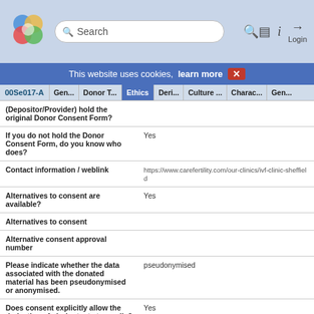[Figure (screenshot): Navigation bar with logo, search box, and icons for search, info, and login]
This website uses cookies, learn more X
| Field | Value |
| --- | --- |
| (Depositor/Provider) hold the original Donor Consent Form? |  |
| If you do not hold the Donor Consent Form, do you know who does? | Yes |
| Contact information / weblink | https://www.carefertility.com/our-clinics/ivf-clinic-sheffield |
| Alternatives to consent are available? | Yes |
| Alternatives to consent |  |
| Alternative consent approval number |  |
| Please indicate whether the data associated with the donated material has been pseudonymised or anonymised. | pseudonymised |
| Does consent explicitly allow the derivation of pluripotent stem cells? | Yes |